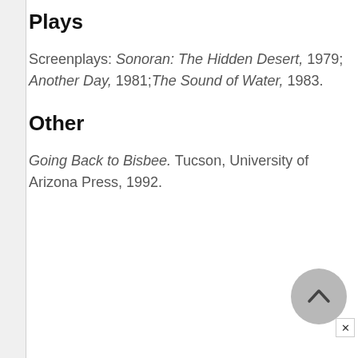Plays
Screenplays: Sonoran: The Hidden Desert, 1979; Another Day, 1981;The Sound of Water, 1983.
Other
Going Back to Bisbee. Tucson, University of Arizona Press, 1992.